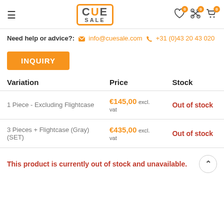CUE SALE — navigation header with hamburger menu, logo, and icons (wishlist 0, compare 0, cart 0)
Need help or advice?: info@cuesale.com +31 (0)43 20 43 020
INQUIRY
| Variation | Price | Stock |
| --- | --- | --- |
| 1 Piece - Excluding Flightcase | €145,00 excl. vat | Out of stock |
| 3 Pieces + Flightcase (Gray) (SET) | €435,00 excl. vat | Out of stock |
This product is currently out of stock and unavailable.